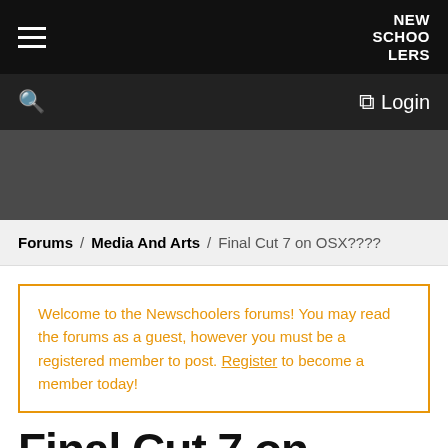NEW SCHOOLERS
Login
Forums / Media And Arts / Final Cut 7 on OSX????
Welcome to the Newschoolers forums! You may read the forums as a guest, however you must be a registered member to post. Register to become a member today!
Final Cut 7 on OSX????